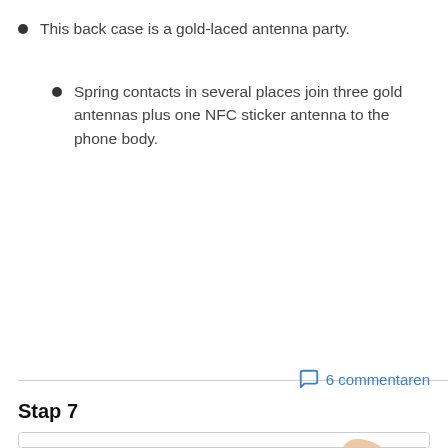This back case is a gold-laced antenna party.
Spring contacts in several places join three gold antennas plus one NFC sticker antenna to the phone body.
6 commentaren
Stap 7
[Figure (photo): A hand using a black tool/spudger to lift a red battery out of a black phone body.]